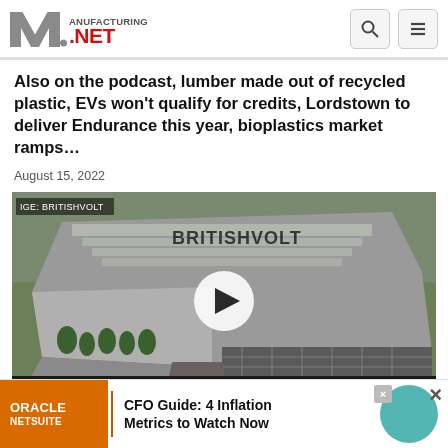Manufacturing.net — logo with search and menu icons
Also on the podcast, lumber made out of recycled plastic, EVs won't qualify for credits, Lordstown to deliver Endurance this year, bioplastics market ramps...
August 15, 2022
[Figure (photo): Aerial rendering of a large industrial factory building with BRITISHVOLT branding on roof. Green landscaping with trees and parking lots visible. Video play button overlay in center. Manufacturing.net lower bar. IGE: BRITISHVOLT watermark top left.]
VIDEO
Oracle NetSuite — CFO Guide: 4 Inflation Metrics to Watch Now (advertisement banner)